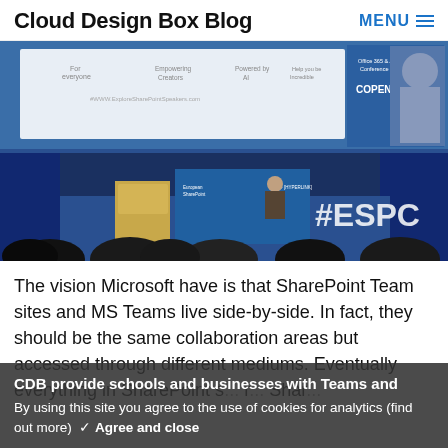Cloud Design Box Blog  MENU
[Figure (photo): Two conference photos: top shows a presentation slide at an Office 365 & Azure Conference in Copenhagen 2018 with text 'For everyone', 'Empowering Creators', 'Powered by AI', 'Help you be Incredible', and '#WWW.ExploreSharePointSpeakers.com'; bottom shows a speaker on stage with '#ESPC' signage and audience silhouettes.]
The vision Microsoft have is that SharePoint Team sites and MS Teams live side-by-side. In fact, they should be the same collaboration areas but accessed through different mediums. Eventually everything in SharePoint s... r... Shar...
CDB provide schools and businesses with Teams and By using this site you agree to the use of cookies for analytics (find out more)  ✓ Agree and close